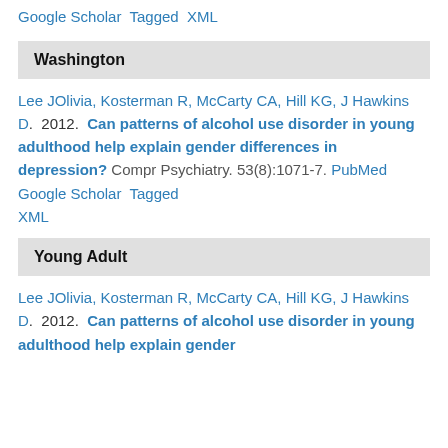Google Scholar  Tagged  XML
Washington
Lee JOlivia, Kosterman R, McCarty CA, Hill KG, J Hawkins D.  2012.  Can patterns of alcohol use disorder in young adulthood help explain gender differences in depression?  Compr Psychiatry. 53(8):1071-7. PubMed  Google Scholar  Tagged  XML
Young Adult
Lee JOlivia, Kosterman R, McCarty CA, Hill KG, J Hawkins D.  2012.  Can patterns of alcohol use disorder in young adulthood help explain gender